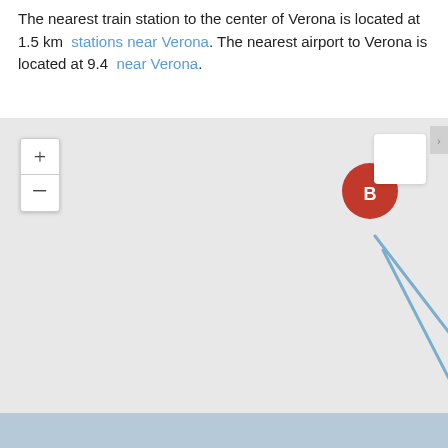The nearest train station to the center of Verona is located at 1.5 km stations near Verona. The nearest airport to Verona is located at 9.4 near Verona.
[Figure (map): Map showing two markers: marker B (top, northwest position) and marker A (bottom, southeast position), connected by a blue diagonal line. Map has zoom controls (+/-) on the left side and a white box in the top right. The bottom of the map shows a blue/water area.]